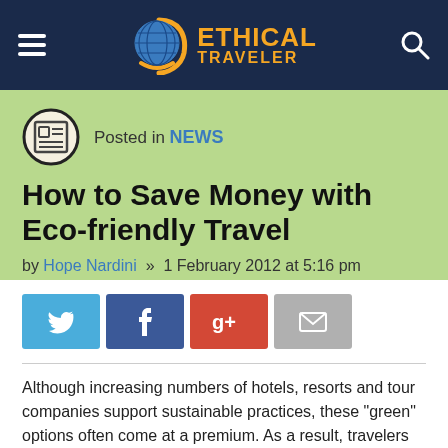Ethical Traveler — navigation header with hamburger menu and search icon
Posted in NEWS
How to Save Money with Eco-friendly Travel
by Hope Nardini  »  1 February 2012 at 5:16 pm
[Figure (infographic): Social share buttons: Twitter (blue), Facebook (dark blue), Google+ (red), Email (gray)]
Although increasing numbers of hotels, resorts and tour companies support sustainable practices, these “green” options often come at a premium. As a result, travelers sometimes feel